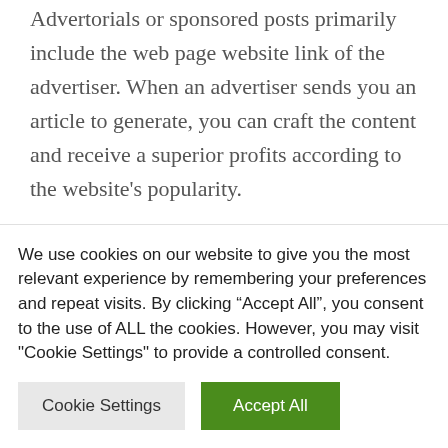Advertorials or sponsored posts primarily include the web page website link of the advertiser. When an advertiser sends you an article to generate, you can craft the content and receive a superior profits according to the website’s popularity.
A idea to keep in mind is that when you are paid out to publicize content on your internet site by
We use cookies on our website to give you the most relevant experience by remembering your preferences and repeat visits. By clicking “Accept All”, you consent to the use of ALL the cookies. However, you may visit "Cookie Settings" to provide a controlled consent.
Cookie Settings
Accept All